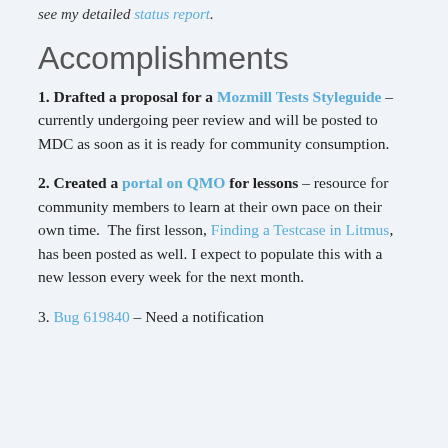see my detailed status report.
Accomplishments
1. Drafted a proposal for a Mozmill Tests Styleguide – currently undergoing peer review and will be posted to MDC as soon as it is ready for community consumption.
2. Created a portal on QMO for lessons – resource for community members to learn at their own pace on their own time.  The first lesson, Finding a Testcase in Litmus, has been posted as well. I expect to populate this with a new lesson every week for the next month.
3. Bug 619840 – Need a notification